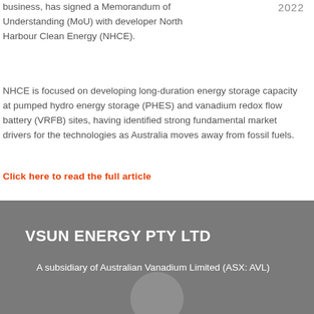2022
business, has signed a Memorandum of Understanding (MoU) with developer North Harbour Clean Energy (NHCE).
NHCE is focused on developing long-duration energy storage capacity at pumped hydro energy storage (PHES) and vanadium redox flow battery (VRFB) sites, having identified strong fundamental market drivers for the technologies as Australia moves away from fossil fuels.
Click here to read the full article
VSUN ENERGY PTY LTD
A subsidiary of Australian Vanadium Limited (ASX: AVL)